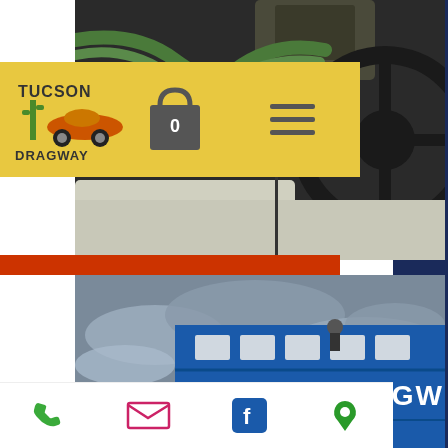[Figure (photo): Top portion showing a racing cockpit/car interior with steering wheel, green hoses/tubing visible, partial view of a person]
[Figure (logo): Tucson Dragway logo on yellow navigation bar - cartoon racing car with cactus, text TUCSON DRAGWAY]
[Figure (photo): Main photo of Tucson Dragway facility showing blue building with TUCSON DRAGW text, logo mural of cartoon character with cactus, parked cars including orange Mini Cooper and blue off-road vehicle, overcast sky]
Phone | Email | Facebook | Location